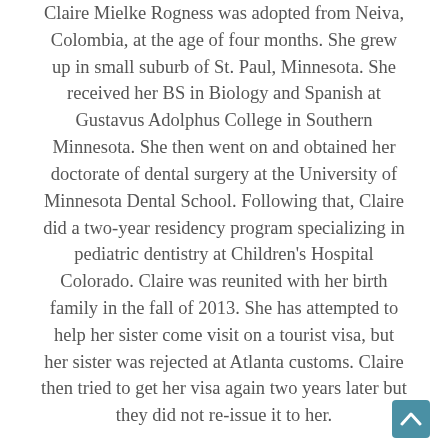Claire Mielke Rogness was adopted from Neiva, Colombia, at the age of four months. She grew up in small suburb of St. Paul, Minnesota. She received her BS in Biology and Spanish at Gustavus Adolphus College in Southern Minnesota. She then went on and obtained her doctorate of dental surgery at the University of Minnesota Dental School. Following that, Claire did a two-year residency program specializing in pediatric dentistry at Children's Hospital Colorado. Claire was reunited with her birth family in the fall of 2013. She has attempted to help her sister come visit on a tourist visa, but her sister was rejected at Atlanta customs. Claire then tried to get her visa again two years later but they did not re-issue it to her. Currently, Claire lives in Minnesota with her husband and three kids—and one on the way. She is a pediatric dentist in Maplewood and Stillwater, Minnesota. Claire enjoys being surrounded by her